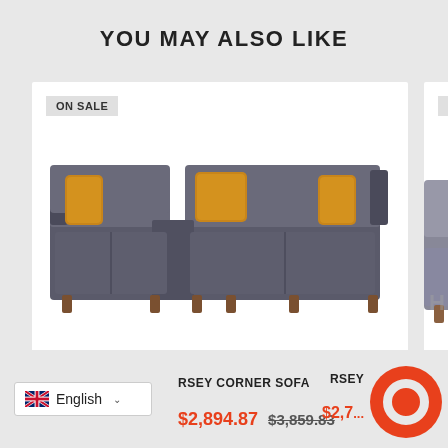YOU MAY ALSO LIKE
[Figure (photo): Gray corner sofa with orange cushions on white background, ON SALE badge]
[Figure (photo): Partial view of light gray sofa on white background, ON SALE badge, HIBAS watermark]
RSEY CORNER SOFA
$2,894.87  $3,859.83
RSEY
$2,7...
English